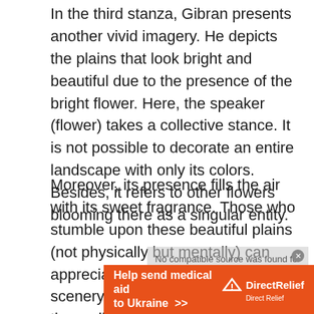In the third stanza, Gibran presents another vivid imagery. He depicts the plains that look bright and beautiful due to the presence of the bright flower. Here, the speaker (flower) takes a collective stance. It is not possible to decorate an entire landscape with only its colors. Besides, it refers to other flowers blooming there as a singular entity.
Moreover, its presence fills the air with its sweet fragrance. Those who stumble upon these beautiful plains (not physically but mentally) can appreciate how magnificent the scenery looks. Gibran also helps the audience to have a sense of the flower's fragrance by using olfactory imagery.
[Figure (other): Video overlay with message: No compatible source was found for this media.]
[Figure (other): Advertisement banner: Help send medical aid to Ukraine >> Direct Relief logo]